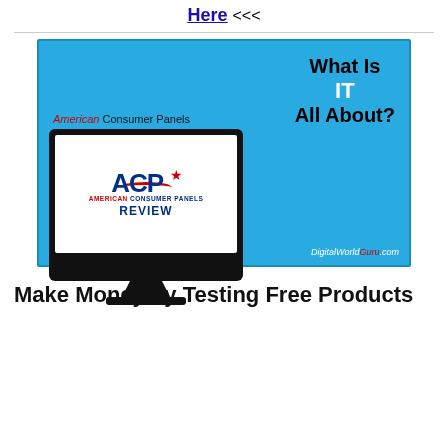Here <<<
[Figure (illustration): American Consumer Panels Review promotional image on a cyan/blue background. Shows a computer monitor displaying the ACP (American Consumer Panels) Review logo with red and blue text. Text on the right reads 'What Is IT All About?'. Bottom right shows 'DigitalWorldGuru.com'. Top left of monitor area says 'American Consumer Panels'.]
Make Money by Testing Free Products